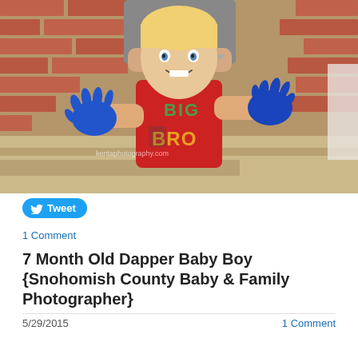[Figure (photo): Young blonde boy wearing a red 'BIG BRO' shirt, holding up both hands covered in blue paint, sitting in front of a brick wall background. An adult stands behind him.]
Tweet
1 Comment
7 Month Old Dapper Baby Boy {Snohomish County Baby & Family Photographer}
5/29/2015   1 Comment